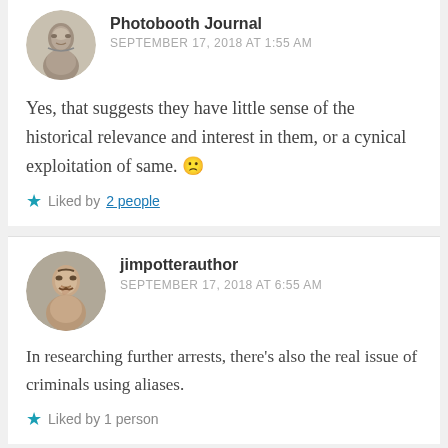Photobooth Journal
SEPTEMBER 17, 2018 AT 1:55 AM
Yes, that suggests they have little sense of the historical relevance and interest in them, or a cynical exploitation of same. 😟
Liked by 2 people
jimpotterauthor
SEPTEMBER 17, 2018 AT 6:55 AM
In researching further arrests, there's also the real issue of criminals using aliases.
Liked by 1 person